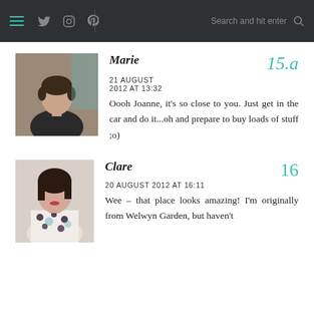Navigation bar with hamburger menu, social icons (Twitter, Instagram, Pinterest), search bar
Marie  15.a
21 AUGUST
2012 AT 13:32
Oooh Joanne, it's so close to you. Just get in the car and do it...oh and prepare to buy loads of stuff ;o)
Clare  16
20 AUGUST 2012 AT 16:11
Wee – that place looks amazing! I'm originally from Welwyn Garden, but haven't lived there since...you'll be...